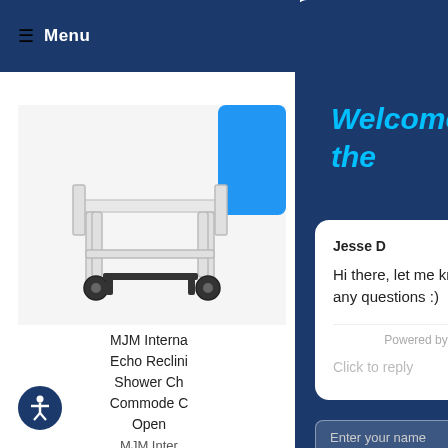≡ Menu
[Figure (photo): Medical shower commode chair with white frame and wheels, MJM International product]
MJM Interna Echo Reclini Shower Ch Commode C Open MJM Inter $299.95
[Figure (screenshot): Chat widget overlay with dark blue background showing 'Welcome to the' heading in cyan italic, a chat card with agent Jesse D saying 'Hi there, let me know if you have any questions :)', powered by gorgias, input fields for name and phone number, and a close X button]
Welcome to the
Jesse D
Hi there, let me know if you have any questions :)
Powered by gorgias
Click to reply
Enter your name
Enter your phone number